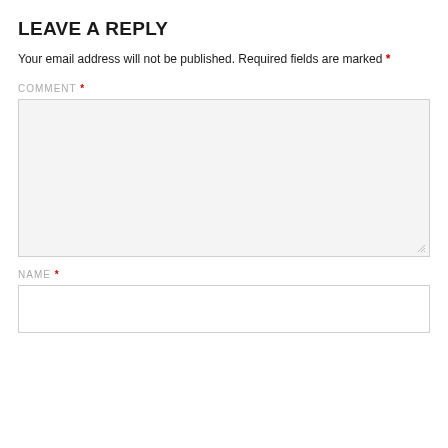LEAVE A REPLY
Your email address will not be published. Required fields are marked *
COMMENT *
[Figure (other): Large textarea input box with light gray background and resize handle in bottom-right corner]
NAME *
[Figure (other): Single-line text input box with white background and gray border]